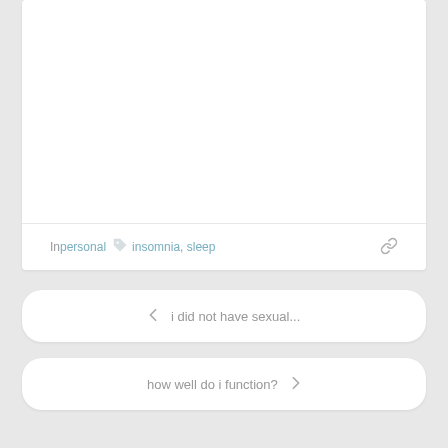In personal  insomnia, sleep
i did not have sexual...
how well do i function?